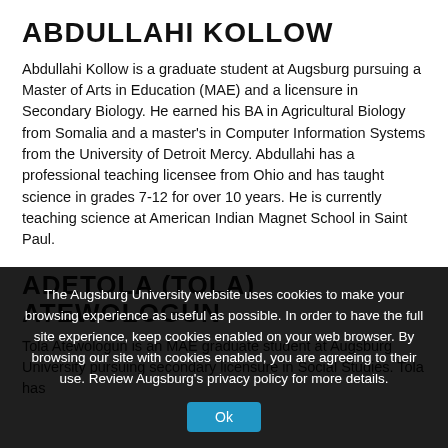ABDULLAHI KOLLOW
Abdullahi Kollow is a graduate student at Augsburg pursuing a Master of Arts in Education (MAE) and a licensure in Secondary Biology. He earned his BA in Agricultural Biology from Somalia and a master's in Computer Information Systems from the University of Detroit Mercy. Abdullahi has a professional teaching licensee from Ohio and has taught science in grades 7-12 for over 10 years. He is currently teaching science at American Indian Magnet School in Saint Paul.
ADETOLA (TOLA) ATEWOLOGUN
Tola Atewologun is an MAE graduate student at Augsburg University pursuing secondary licensure in Social Studies. Tola has
The Augsburg University website uses cookies to make your browsing experience as useful as possible. In order to have the full site experience, keep cookies enabled on your web browser. By browsing our site with cookies enabled, you are agreeing to their use. Review Augsburg's privacy policy for more details.